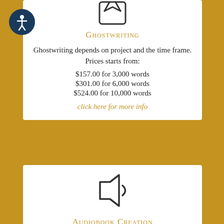[Figure (illustration): Accessibility icon — white person figure in a dark blue circle, top left corner]
[Figure (illustration): Pencil/writing icon inside a rounded square — ghostwriting service icon]
Ghostwriting
Ghostwriting depends on project and the time frame.
Prices starts from:
$157.00 for 3,000 words
$301.00 for 6,000 words
$524.00 for 10,000 words
click here for more info
[Figure (illustration): Speaker/audio icon — loudspeaker outline indicating audiobook creation]
Audiobook Creation